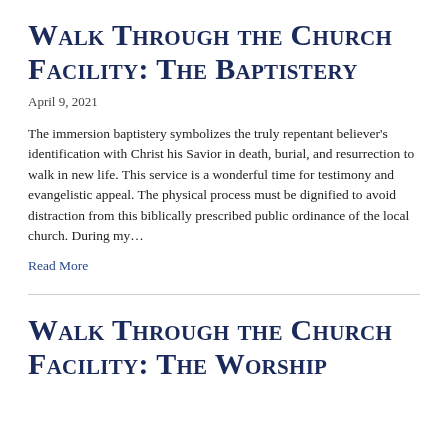Walk Through the Church Facility: The Baptistery
April 9, 2021
The immersion baptistery symbolizes the truly repentant believer's identification with Christ his Savior in death, burial, and resurrection to walk in new life. This service is a wonderful time for testimony and evangelistic appeal. The physical process must be dignified to avoid distraction from this biblically prescribed public ordinance of the local church. During my…
Read More
Walk Through the Church Facility: The Worship